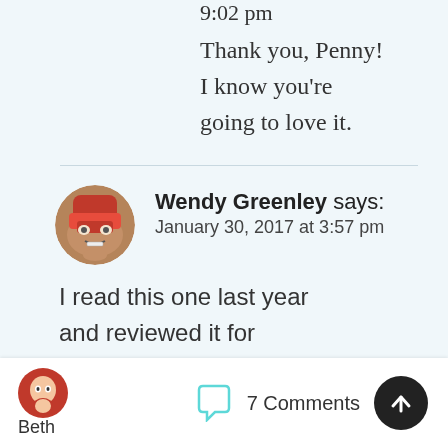9:02 pm
Thank you, Penny! I know you're going to love it.
Wendy Greenley says: January 30, 2017 at 3:57 pm
I read this one last year and reviewed it for Perfect Picture Book
Beth
7 Comments